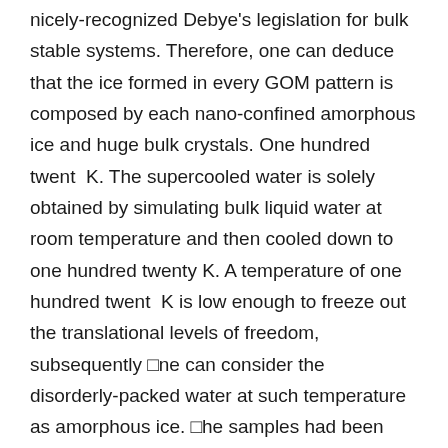nicely-recognized Debye's legislation for bulk stable systems. Therefore, one can deduce that the ice formed in every GOM pattern is composed by each nano-confined amorphous ice and huge bulk crystals. One hundred twent  K. The supercooled water is solely obtained by simulating bulk liquid water at room temperature and then cooled down to one hundred twenty K. A temperature of one hundred twent  K is low enough to freeze out the translational levels of freedom, subsequently ⊡ne can consider the disorderly-packed water at such temperature as amorphous ice. ⊡he samples had been first annealed at 20°C for 5 minutes, after which cooled all the way down to -60 °C at a cooling charge of 2°C/min t  acquire the DSC knowledge (see SI).